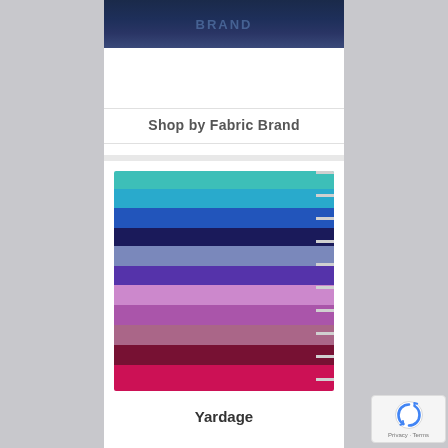[Figure (photo): Dark navy/blue background image at the top, appears to be a banner with faint text]
Shop by Fabric Brand
[Figure (photo): Stack of folded fabric swatches in a gradient of colors from teal/turquoise at top through blues, navy, lavender, purple, mauve, burgundy, and crimson at bottom, with metal ring binder clips on the right side]
Yardage